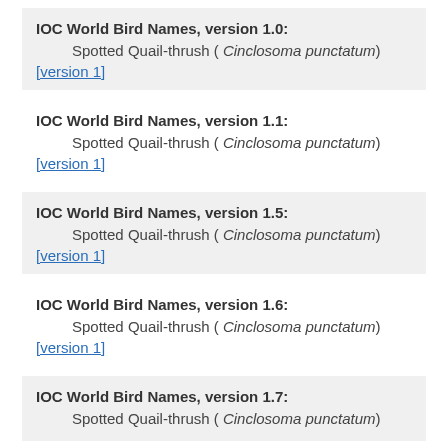IOC World Bird Names, version 1.0:
        Spotted Quail-thrush ( Cinclosoma punctatum)
[version 1]
IOC World Bird Names, version 1.1:
        Spotted Quail-thrush ( Cinclosoma punctatum)
[version 1]
IOC World Bird Names, version 1.5:
        Spotted Quail-thrush ( Cinclosoma punctatum)
[version 1]
IOC World Bird Names, version 1.6:
        Spotted Quail-thrush ( Cinclosoma punctatum)
[version 1]
IOC World Bird Names, version 1.7:
        Spotted Quail-thrush ( Cinclosoma punctatum)